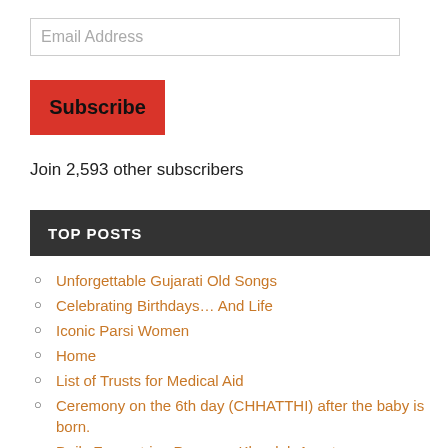Email Address
Subscribe
Join 2,593 other subscribers
TOP POSTS
Unforgettable Gujarati Old Songs
Celebrating Birthdays… And Life
Iconic Parsi Women
Home
List of Trusts for Medical Aid
Ceremony on the 6th day (CHHATTHI) after the baby is born.
Daily Zoroastrian Prayers - Khordeh Avesta